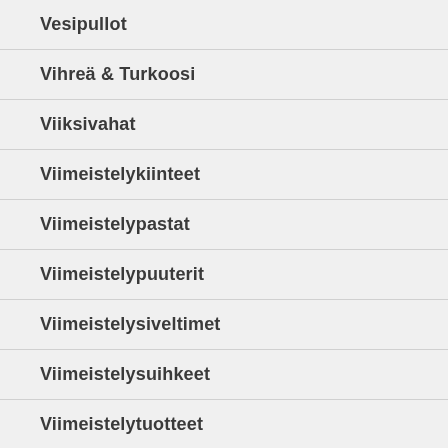Vesipullot
Vihreä & Turkoosi
Viiksivahat
Viimeistelykiinteet
Viimeistelypastat
Viimeistelypuuterit
Viimeistelysiveltimet
Viimeistelysuihkeet
Viimeistelytuotteet